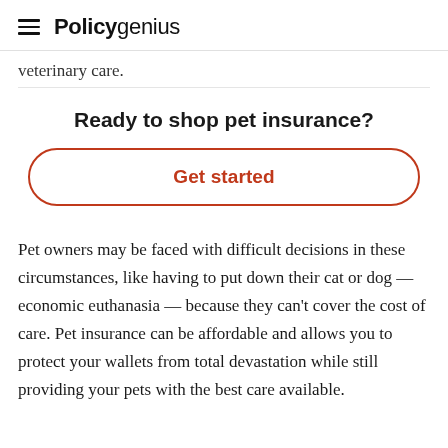Policygenius
veterinary care.
Ready to shop pet insurance?
Get started
Pet owners may be faced with difficult decisions in these circumstances, like having to put down their cat or dog — economic euthanasia — because they can't cover the cost of care. Pet insurance can be affordable and allows you to protect your wallets from total devastation while still providing your pets with the best care possible.